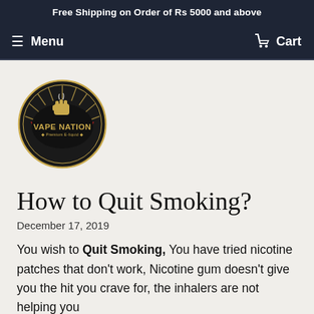Free Shipping on Order of Rs 5000 and above
Menu  Cart
[Figure (logo): Vape Nation Premium E-liquid logo — circular badge with fist holding vape, red and gold rays, dark background]
How to Quit Smoking?
December 17, 2019
You wish to Quit Smoking, You have tried nicotine patches that don't work, Nicotine gum doesn't give you the hit you crave for, the inhalers are not helping you